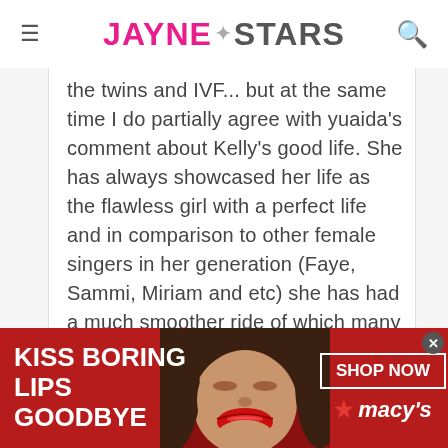JAYNE★STARS
the twins and IVF... but at the same time I do partially agree with yuaida's comment about Kelly's good life. She has always showcased her life as the flawless girl with a perfect life and in comparison to other female singers in her generation (Faye, Sammi, Miriam and etc) she has had a much smoother ride of which many know is contributed from her affluent background... the others have
[Figure (infographic): Macy's advertisement banner with red background, woman's face with red lips, text 'KISS BORING LIPS GOODBYE', 'SHOP NOW' button, and Macy's star logo]